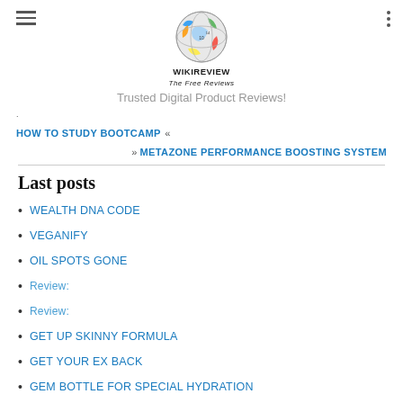[Figure (logo): WikiReview globe logo with colorful puzzle pieces, labeled WIKIREVIEW The Free Reviews]
Trusted Digital Product Reviews!
· HOW TO STUDY BOOTCAMP «
» METAZONE PERFORMANCE BOOSTING SYSTEM
Last posts
WEALTH DNA CODE
VEGANIFY
OIL SPOTS GONE
Review:
Review:
GET UP SKINNY FORMULA
GET YOUR EX BACK
GEM BOTTLE FOR SPECIAL HYDRATION
WAIT! WHY DID YOU SWIPE LEFT